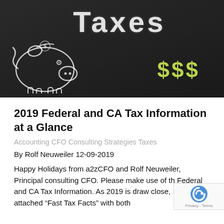[Figure (photo): Chalkboard illustration with 'Taxes' written in white chalk at top, a chalk-drawn piggy bank on the left, and green dollar signs '$$$' on the right against a dark background.]
2019 Federal and CA Tax Information at a Glance
Accounting CFO Consulting Strategies Taxes
By Rolf Neuweiler 12-09-2019
Happy Holidays from a2zCFO and Rolf Neuweiler, Principal consulting CFO. Please make use of th Federal and CA Tax Information. As 2019 is draw close, I hope the attached “Fast Tax Facts” with both